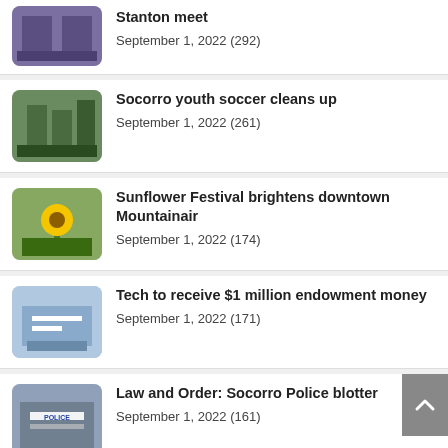Stanton meet
September 1, 2022 (292)
Socorro youth soccer cleans up
September 1, 2022 (261)
Sunflower Festival brightens downtown Mountainair
September 1, 2022 (174)
Tech to receive $1 million endowment money
September 1, 2022 (171)
Law and Order: Socorro Police blotter
September 1, 2022 (161)
Socorro County gets unmodified audit opinion
September 1, 2022 (151)
City to replace antiquated trucks
September 1, 2022 (125)